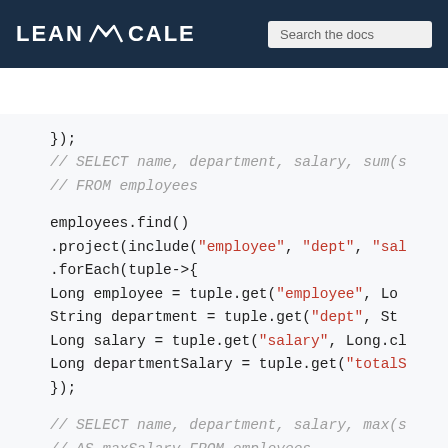LEANXCALE  Search the docs  1.8
[Figure (screenshot): LeanXcale documentation website header with logo and search box]
});
// SELECT name, department, salary, sum(s
// FROM employees
employees.find()
.project(include("employee", "dept", "sal
.forEach(tuple->{
Long employee = tuple.get("employee", Lo
String department = tuple.get("dept", St
Long salary = tuple.get("salary", Long.cl
Long departmentSalary = tuple.get("totalS
});
// SELECT name, department, salary, max(s
// AS maxSalary FROM employees